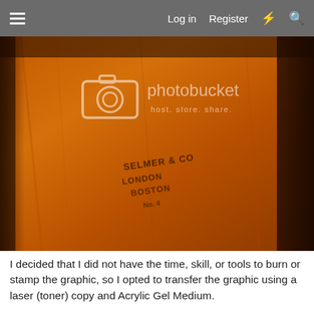≡   Log in   Register   ⚡   🔍
[Figure (photo): Close-up photograph of a wooden surface with a stamp/label reading 'SELMER & CO LONDON BOSTON' partially visible, with a Photobucket watermark overlay showing 'photobucket host. store. share.']
I decided that I did not have the time, skill, or tools to burn or stamp the graphic, so I opted to transfer the graphic using a laser (toner) copy and Acrylic Gel Medium.
[Figure (photo): Partial view of a dark wooden surface or instrument, close-up photograph, bottom portion of the page.]